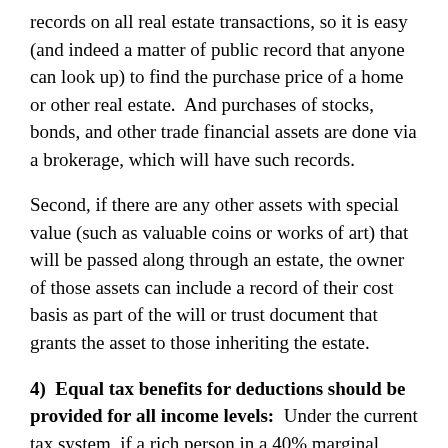records on all real estate transactions, so it is easy (and indeed a matter of public record that anyone can look up) to find the purchase price of a home or other real estate.  And purchases of stocks, bonds, and other trade financial assets are done via a brokerage, which will have such records.
Second, if there are any other assets with special value (such as valuable coins or works of art) that will be passed along through an estate, the owner of those assets can include a record of their cost basis as part of the will or trust document that grants the asset to those inheriting the estate.
4)  Equal tax benefits for deductions should be provided for all income levels:  Under the current tax system, if a rich person in a 40% marginal income tax